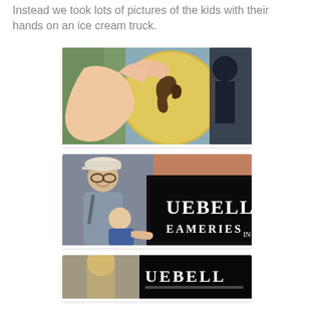Instead we took lots of pictures of the kids with their hands on an ice cream truck.
[Figure (photo): Close-up photo of a child's hand touching the side of an ice cream truck with a colorful logo/illustration on it]
[Figure (photo): A man wearing a cap and glasses holds a baby who is touching the side of a Blue Bell Creameries ice cream truck]
[Figure (photo): Partial view of another photo showing a child near what appears to be a Blue Bell ice cream truck, partially cropped at the bottom of the page]